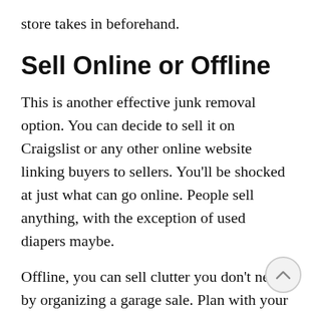store takes in beforehand.
Sell Online or Offline
This is another effective junk removal option. You can decide to sell it on Craigslist or any other online website linking buyers to sellers. You’ll be shocked at just what can go online. People sell anything, with the exception of used diapers maybe.
Offline, you can sell clutter you don’t need by organizing a garage sale. Plan with your local neighborhood if they already have dates fixed for the sale. If not, you can plan your own and send invites to your neighbors. You’ll be surprised that what you don’t find useful is gold